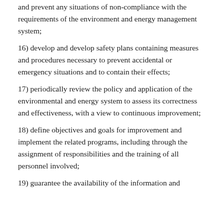…) carry out checks, inspections and audits to identify and prevent any situations of non-compliance with the requirements of the environment and energy management system;
16) develop and develop safety plans containing measures and procedures necessary to prevent accidental or emergency situations and to contain their effects;
17) periodically review the policy and application of the environmental and energy system to assess its correctness and effectiveness, with a view to continuous improvement;
18) define objectives and goals for improvement and implement the related programs, including through the assignment of responsibilities and the training of all personnel involved;
19) guarantee the availability of the information and